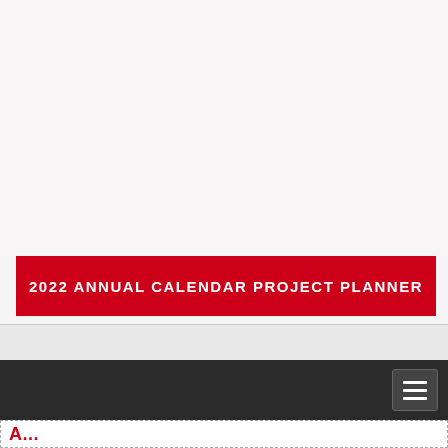2022 ANNUAL CALENDAR PROJECT PLANNER
[Figure (other): Navigation bar with hamburger menu icon on dark background]
A...